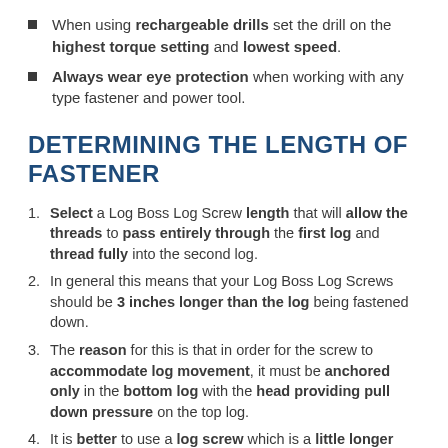When using rechargeable drills set the drill on the highest torque setting and lowest speed.
Always wear eye protection when working with any type fastener and power tool.
DETERMINING THE LENGTH OF FASTENER
Select a Log Boss Log Screw length that will allow the threads to pass entirely through the first log and thread fully into the second log.
In general this means that your Log Boss Log Screws should be 3 inches longer than the log being fastened down.
The reason for this is that in order for the screw to accommodate log movement, it must be anchored only in the bottom log with the head providing pull down pressure on the top log.
It is better to use a log screw which is a little longer